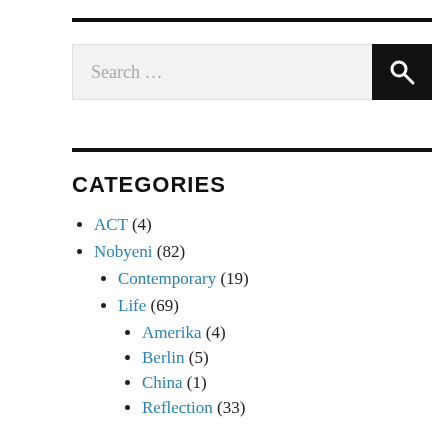[Figure (screenshot): Search bar with text 'Search ...' and a black search button with magnifying glass icon]
CATEGORIES
ACT (4)
Nobyeni (82)
Contemporary (19)
Life (69)
Amerika (4)
Berlin (5)
China (1)
Reflection (33)